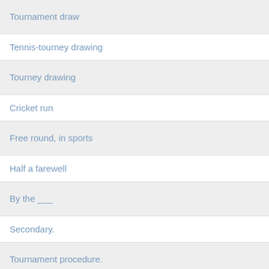Tournament draw
Tennis-tourney drawing
Tourney drawing
Cricket run
Free round, in sports
Half a farewell
By the ___
Secondary.
Tournament procedure.
Unplayed round of a